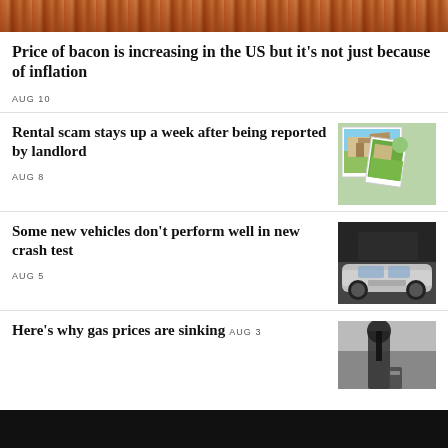[Figure (photo): Close-up photo of bacon strips cooking in a pan, reddish-brown tones]
Price of bacon is increasing in the US but it's not just because of inflation
AUG 10
Rental scam stays up a week after being reported by landlord
AUG 8
[Figure (photo): Overlapping polaroid-style photos of a suburban house with green lawn and palm trees]
Some new vehicles don't perform well in new crash test
AUG 5
[Figure (photo): Dark photo of a white car during a crash test]
Here's why gas prices are sinking
AUG 3
[Figure (photo): Silhouette of a person holding a gas pump nozzle at a gas station]